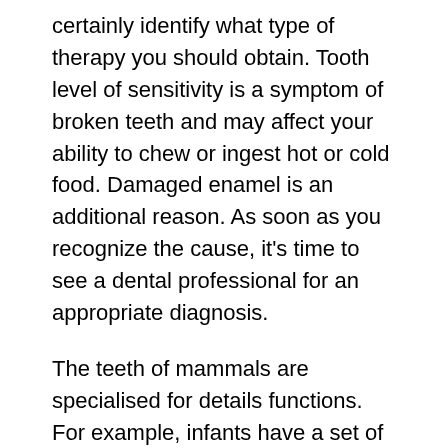certainly identify what type of therapy you should obtain. Tooth level of sensitivity is a symptom of broken teeth and may affect your ability to chew or ingest hot or cold food. Damaged enamel is an additional reason. As soon as you recognize the cause, it's time to see a dental professional for an appropriate diagnosis.
The teeth of mammals are specialised for details functions. For example, infants have a set of milk teeth that are changed by adult teeth, additionally known as baby teeth. Animals with two collections of teeth are diphyodonts. The dental formula for milk teeth is the same as for adult teeth, yet without the molars. The two sets of teeth are needed for the proper functioning of the mouth. By